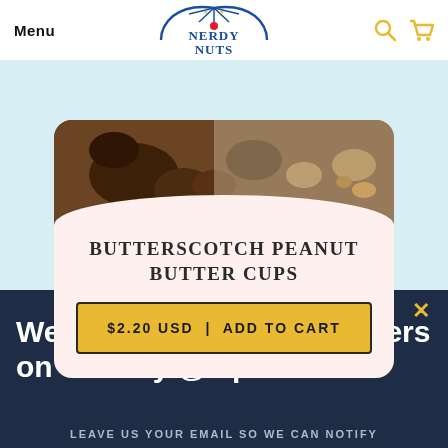Menu | Nerdy Nuts
[Figure (screenshot): Product image showing chocolate and peanut ingredients on a light surface]
BUTTERSCOTCH PEANUT BUTTER CUPS
$2.20 USD | ADD TO CART
We drop NEW peanut butters on Sunday @ 7pm EST!
LEAVE US YOUR EMAIL SO WE CAN NOTIFY